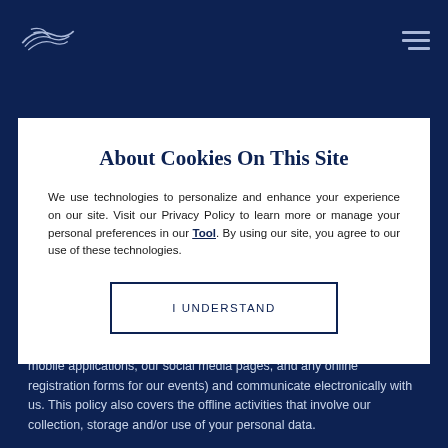[Figure (logo): Bird/swallow logo in white/light blue lines on dark navy background, top left]
About Cookies On This Site
We use technologies to personalize and enhance your experience on our site. Visit our Privacy Policy to learn more or manage your personal preferences in our Tool. By using our site, you agree to our use of these technologies.
I UNDERSTAND
privacy when you use our digital media (such as our websites, our mobile applications, our social media pages, and any online registration forms for our events) and communicate electronically with us. This policy also covers the offline activities that involve our collection, storage and/or use of your personal data.